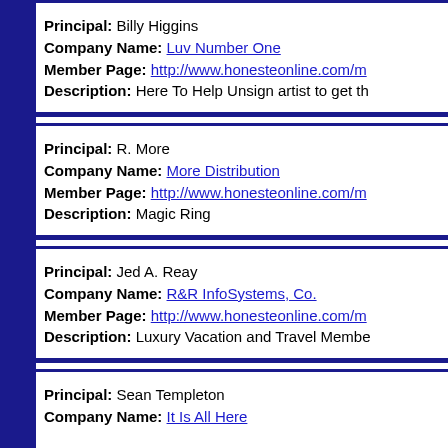Principal: Billy Higgins
Company Name: Luv Number One
Member Page: http://www.honesteonline.com/m
Description: Here To Help Unsign artist to get th
Principal: R. More
Company Name: More Distribution
Member Page: http://www.honesteonline.com/m
Description: Magic Ring
Principal: Jed A. Reay
Company Name: R&R InfoSystems, Co.
Member Page: http://www.honesteonline.com/m
Description: Luxury Vacation and Travel Membe
Principal: Sean Templeton
Company Name: It Is All Here